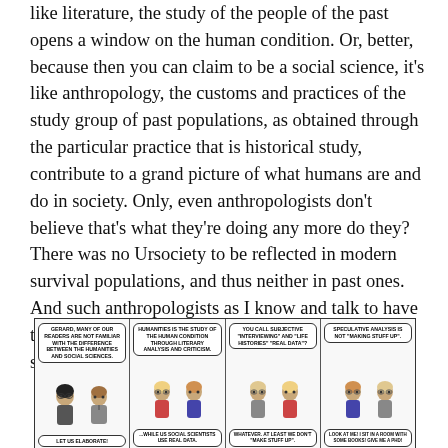like literature, the study of the people of the past opens a window on the human condition. Or, better, because then you can claim to be a social science, it's like anthropology, the customs and practices of the study group of past populations, as obtained through the particular practice that is historical study, contribute to a grand picture of what humans are and do in society. Only, even anthropologists don't believe that's what they're doing any more do they? There was no Ursociety to be reflected in modern survival populations, and thus neither in past ones. And such anthropologists as I know and talk to have trouble crediting historians with anything like the scientific aims that some claim to have.
[Figure (illustration): A four-panel comic strip. Panel 1: Two characters, one says 'GERARD, MANY OF OUR READERS ARE NOT FAMILIAR WITH THE DIFFERENCE BETWEEN THE HUMANITIES AND SOCIAL SCIENCES.' Other says 'LET US ELABORATE!' Panel 2: A character says 'HUMANITIES IS THE STUDY OF THE HUMAN CONDITION THROUGH LITERARY ANALYSIS AND CRITICISM.' Another says '...WHILE US SOCIAL SCIENTISTS USE REAL DATA.' Panel 3: A character says 'YOU CALL SUBJECTIVE "INTERVIEWING" AND "LIFE HISTORIES" "REAL DATA"?' Another says 'WHATEVER. AT LEAST WE DON"T "MAKE STUFF UP".' Panel 4: A character says 'SPECULATIVE ANALYSIS IS NOT "MAKING STUFF UP".' Another says 'Look at me! I sit in a room with some books! Give me a PhD!']